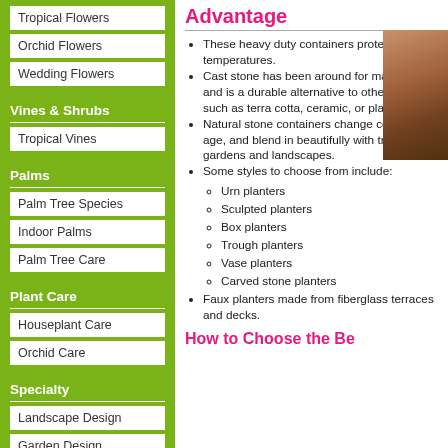Tropical Flowers
Orchid Flowers
Wedding Flowers
Vines & Shrubs
Tropical Vines
Palms
Palm Tree Species
Indoor Palms
Palm Tree Care
Plant Care
Houseplant Care
Orchid Care
Specialty
Landscape Design
Garden Design
Advantages
These heavy duty containers protect temperatures.
Cast stone has been around for many years, and is a durable alternative to other materials such as terra cotta, ceramic, or plastic.
Natural stone containers change color as they age, and blend in beautifully with tropical gardens and landscapes.
Some styles to choose from include: Urn planters, Sculpted planters, Box planters, Trough planters, Vase planters, Carved stone planters
Faux planters made from fiberglass terraces and decks.
How to Choose the Be...